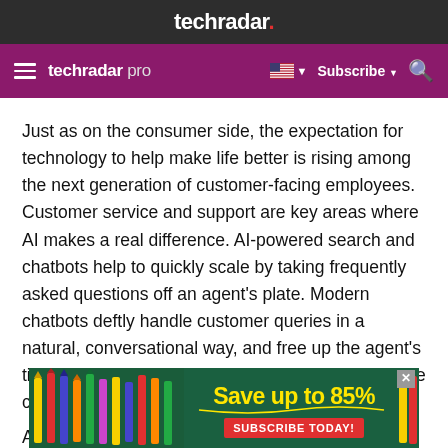techradar.
techradar pro  Subscribe
Just as on the consumer side, the expectation for technology to help make life better is rising among the next generation of customer-facing employees. Customer service and support are key areas where AI makes a real difference. AI-powered search and chatbots help to quickly scale by taking frequently asked questions off an agent’s plate. Modern chatbots deftly handle customer queries in a natural, conversational way, and free up the agent’s time to focus on resolving more complex, high-value customer issues.
[Figure (infographic): Advertisement banner: Save up to 85% - SUBSCRIBE TODAY! with pencils/stationery background on green chalkboard]